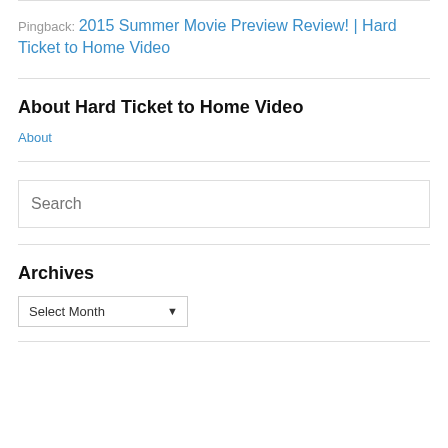Pingback: 2015 Summer Movie Preview Review! | Hard Ticket to Home Video
About Hard Ticket to Home Video
About
Search
Archives
Select Month